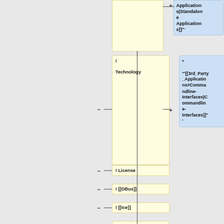[Figure (flowchart): A flowchart/tree diagram showing wiki-style navigation nodes. Top-right blue box shows 'Applications|Standalone Applications]]""'. Below, a yellow box labeled '! Technology' with a minus symbol connector on the left and a plus symbol connecting to a large blue box containing '* ""[[3rd_Party_Applications#Commandline-Interfaces|Commandline-Interfaces]]""'. Further down are yellow boxes for '- ! License', '- ! [[DBus]]', '- ! [[Ice]]', and '- ! 1.1.x'.]